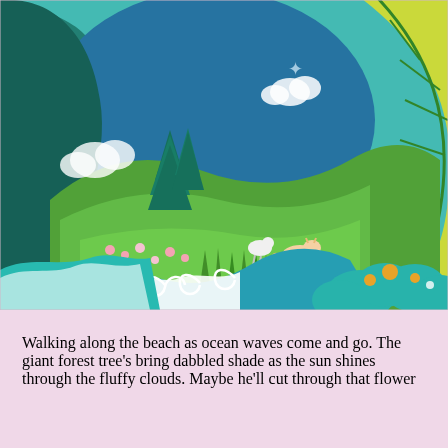[Figure (photo): A colorful paper craft diorama scene inside a circular/egg-shaped frame showing ocean waves in teal and blue with white swirls, green hills and meadows with small flowers, paper-cut forest trees in dark teal and green, tropical leaf patterns in yellow and green on the right, small paper animal (dog/cat) figurines on a meadow, white cloud cutouts, and teal decorative clouds with orange dot accents in the foreground. The overall aesthetic is a layered paper art scene with vibrant colors.]
Walking along the beach as ocean waves come and go. The giant forest tree's bring dabbled shade as the sun shines through the fluffy clouds. Maybe he'll cut through that flower